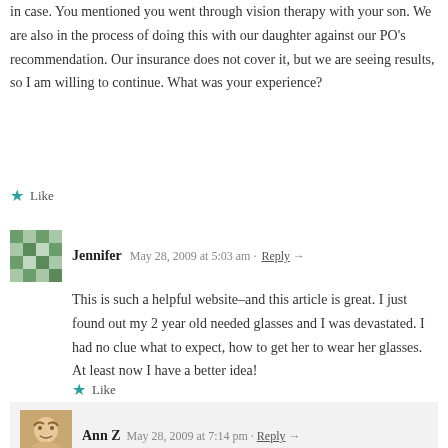in case. You mentioned you went through vision therapy with your son. We are also in the process of doing this with our daughter against our PO's recommendation. Our insurance does not cover it, but we are seeing results, so I am willing to continue. What was your experience?
Like
Jennifer   May 28, 2009 at 5:03 am · Reply →
This is such a helpful website–and this article is great. I just found out my 2 year old needed glasses and I was devastated. I had no clue what to expect, how to get her to wear her glasses. At least now I have a better idea!
Like
Ann Z   May 28, 2009 at 7:14 pm · Reply →
Thanks for the kind words, Jennifer. I know it's overwhelming to hear that your toddler needs glasses. Please feel free to post any questions or concerns you run